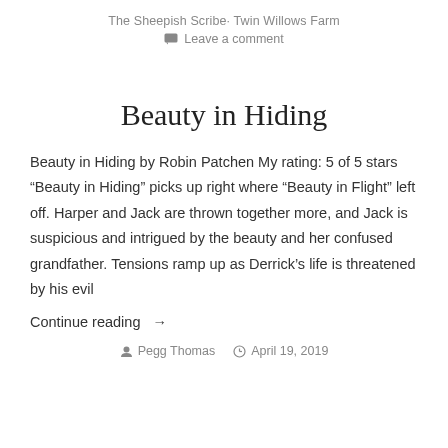The Sheepish Scribe· Twin Willows Farm
Leave a comment
Beauty in Hiding
Beauty in Hiding by Robin Patchen My rating: 5 of 5 stars “Beauty in Hiding” picks up right where “Beauty in Flight” left off. Harper and Jack are thrown together more, and Jack is suspicious and intrigued by the beauty and her confused grandfather. Tensions ramp up as Derrick’s life is threatened by his evil
Continue reading →
Pegg Thomas   April 19, 2019